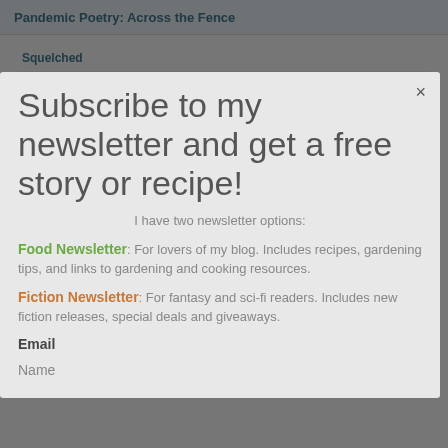Pandemic Poetry: Across the Fence
Subscribe to my newsletter and get a free story or recipe!
I have two newsletter options:
Food Newsletter: For lovers of my blog. Includes recipes, gardening tips, and links to gardening and cooking resources.
Fiction Newsletter: For fantasy and sci-fi readers. Includes new fiction releases, special deals and giveaways.
Email
Name
Squelched
The Dragon Defence League
The Dragon Slayer's Daughter
The Dragon Slayer's Son
The Ipswich Witch
A Glint of Exoskeleton